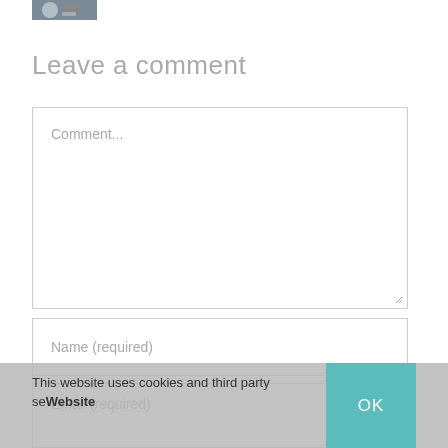[Figure (photo): Small avatar/profile photo thumbnail at top left]
Leave a comment
Comment...
Name (required)
Email (required)
This website uses cookies and third party
se Website
OK